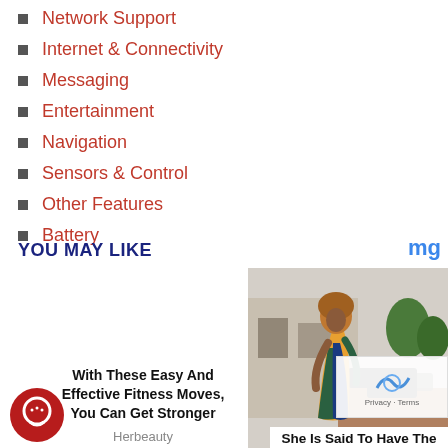Network Support
Internet & Connectivity
Messaging
Entertainment
Navigation
Sensors & Control
Other Features
Battery
YOU MAY LIKE
With These Easy And Effective Fitness Moves, You Can Get Stronger
Herbeauty
[Figure (photo): Woman in colorful dress standing outdoors on a street]
She Is Said To Have The